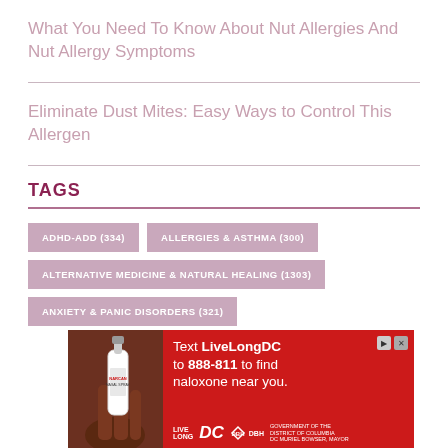What You Need To Know About Nut Allergies And Nut Allergy Symptoms
Eliminate Dust Mites: Easy Ways to Control This Allergen
TAGS
ADHD-ADD (334)
ALLERGIES & ASTHMA (300)
ALTERNATIVE MEDICINE & NATURAL HEALING (1303)
ANXIETY & PANIC DISORDERS (321)
[Figure (screenshot): Advertisement for LiveLongDC naloxone campaign: red background, nasal spray image, text 'Text LiveLongDC to 888-811 to find naloxone near you.' with LiveLong DC and DBH logos.]